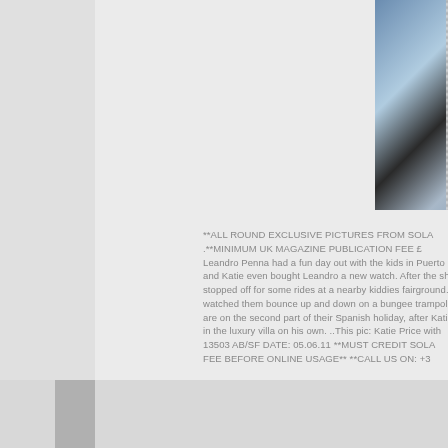[Figure (photo): Partial photo showing a metallic mesh strap and blue background with white letters 'DO' visible, likely a watch display or advertisement]
**ALL ROUND EXCLUSIVE PICTURES FROM SOLA .**
**MINIMUM UK MAGAZINE PUBLICATION FEE £ **
Leandro Penna had a fun day out with the kids in Puerto and Katie even bought Leandro a new watch. After the sh stopped off for some rides at a nearby kiddies fairground. watched them bounce up and down on a bungee trampoli are on the second part of their Spanish holiday, after Katie in the luxury villa on his own. ..This pic: Katie Price with 13503 AB/SF DATE: 05.06.11 **MUST CREDIT SOLA FEE BEFORE ONLINE USAGE** **CALL US ON: +3
COPYRIGHT: SOLARPIX.COM